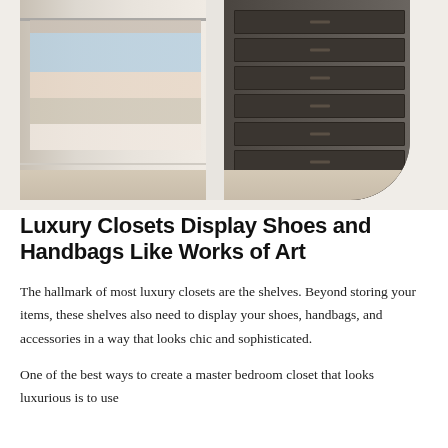[Figure (photo): Two-panel luxury closet photo: left side shows white open shelving with hanging clothes in various colors (blue, pink, cream, tan) and a wooden floor; right side shows dark wood/charcoal drawer unit with multiple drawers, separated by a white divider column. Image has rounded bottom-right corner.]
Luxury Closets Display Shoes and Handbags Like Works of Art
The hallmark of most luxury closets are the shelves. Beyond storing your items, these shelves also need to display your shoes, handbags, and accessories in a way that looks chic and sophisticated.
One of the best ways to create a master bedroom closet that looks luxurious is to use